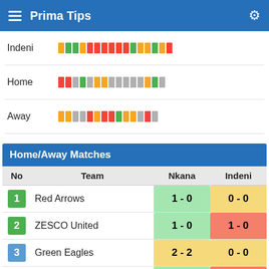Prima Tips
Indeni
[Figure (infographic): Form bar chart for Indeni showing colored bars: yellow, green, green, yellow, red, red, red, red, red, red, green, yellow, yellow, green, yellow, red]
Home
[Figure (infographic): Form bar chart for Home showing colored bars: red, red, gray, green, gray, yellow, yellow, gray, gray, gray, gray, gray, yellow, green, gray]
Away
[Figure (infographic): Form bar chart for Away showing colored bars: yellow, yellow, gray, gray, red, yellow, red, red, green, yellow, yellow, gray, red, gray]
Home/Away Matches
| No | Team | Nkana | Indeni |
| --- | --- | --- | --- |
| 1 | Red Arrows | 1 - 0 | 0 - 0 |
| 2 | ZESCO United | 1 - 0 | 1 - 0 |
| 3 | Green Eagles | 2 - 2 | 0 - 0 |
| 4 | Power Dynamos | 2 - 0 | 3 - 0 |
| 5 | Al... |  |  |